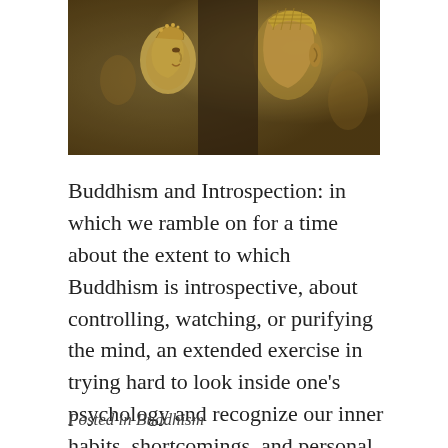[Figure (photo): Sepia-toned photograph of Buddhist statues or figurines in profile, with a golden-brown warm tone]
Buddhism and Introspection: in which we ramble on for a time about the extent to which Buddhism is introspective, about controlling, watching, or purifying the mind, an extended exercise in trying hard to look inside one's psychology and recognize our inner habits, shortcomings, and personal narratives. Image Credit: Buddha Land (c) 2008 by John Nakamura… Continue reading →
Posted in Buddhism